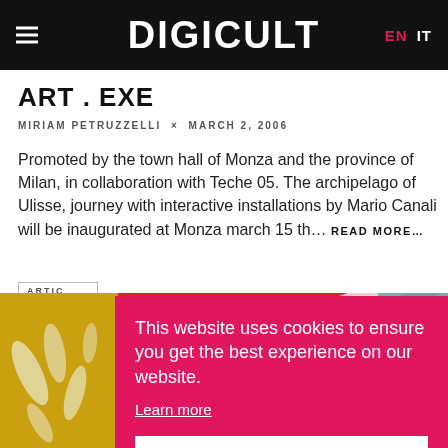DIGICULT | EN IT
ART . EXE
MIRIAM PETRUZZELLI × MARCH 2, 2006
Promoted by the town hall of Monza and the province of Milan, in collaboration with Teche 05. The archipelago of Ulisse, journey with interactive installations by Mario Canali will be inaugurated at Monza march 15 th… READ MORE…
ARTIC
[Figure (screenshot): Cookie consent overlay on Digicult website, with text: This website uses cookies to ensure you get the best experience on our website. Learn more. Got it button.]
[Figure (photo): Colorful abstract imagery - left side golden yellow with white shapes, right side red and white diagonal stripes with teal accent.]